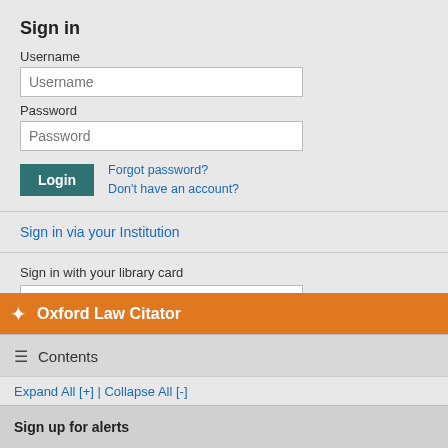Sign in
Username
Password
Forgot password? Don't have an account?
Sign in via your Institution
Sign in with your library card
Oxford Law Citator
Contents
Expand All [+] | Collapse All [-]
Sign up for alerts
operating hours, restrictions o... pandemic, the businesses wh... and beverages in which it was... physical contact with custome... so on, were totally closed. The... general guidance given by the... businesses in order to comply... pools, and sport arenas were
75. In the second phase of th... especially in Oslo from 8 Octo... November 2020, national regu... and a governmental recomme... regulations.111 In several citie... sports. In Oslo on 6 Novembe... restaurant and bars.112 With t... made national.
76. Parks were not closed, a... part closed during the first pha... 2020. Following a relatively lo... per week from mid-May until n... in the parks in the cities in 'to... of Bergen and Trondheim. Th...